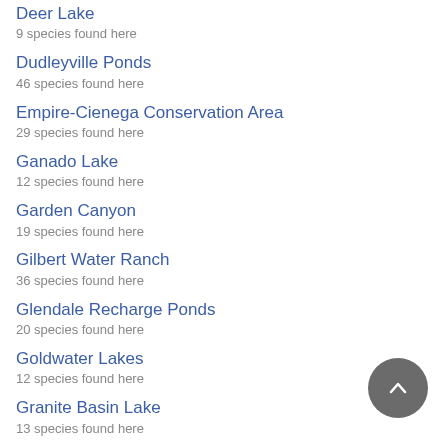Deer Lake
9 species found here
Dudleyville Ponds
46 species found here
Empire-Cienega Conservation Area
29 species found here
Ganado Lake
12 species found here
Garden Canyon
19 species found here
Gilbert Water Ranch
36 species found here
Glendale Recharge Ponds
20 species found here
Goldwater Lakes
12 species found here
Granite Basin Lake
13 species found here
Green Valley Country Club Estates